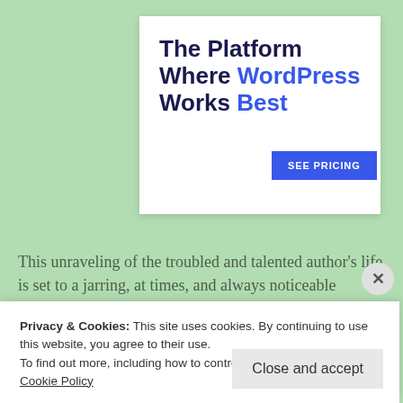The Platform Where WordPress Works Best
SEE PRICING
This unraveling of the troubled and talented author's life is set to a jarring, at times, and always noticeable soundtrack. Music by classic
Privacy & Cookies: This site uses cookies. By continuing to use this website, you agree to their use.
To find out more, including how to control cookies, see here: Cookie Policy
Close and accept